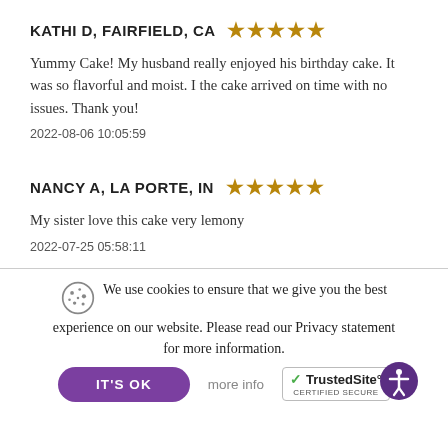KATHI D, FAIRFIELD, CA ★★★★★
Yummy Cake! My husband really enjoyed his birthday cake. It was so flavorful and moist. I the cake arrived on time with no issues. Thank you!
2022-08-06 10:05:59
NANCY A, LA PORTE, IN ★★★★★
My sister love this cake very lemony
2022-07-25 05:58:11
We use cookies to ensure that we give you the best experience on our website. Please read our Privacy statement for more information.
IT'S OK
more info
[Figure (logo): TrustedSite CERTIFIED SECURE badge with green checkmark]
[Figure (illustration): Purple accessibility icon (person with outstretched arms in circle)]